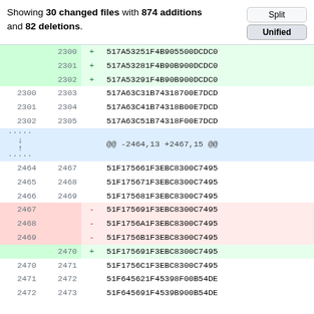Showing 30 changed files with 874 additions and 82 deletions.
| old | new | sign | code |
| --- | --- | --- | --- |
|  | 2300 | + | 517A53251F4B905500DCDC0 |
|  | 2301 | + | 517A53281F4B90B900DCDC0 |
|  | 2302 | + | 517A53291F4B90B900DCDC0 |
| 2300 | 2303 |  | 517A63C31B74318700E7DCD |
| 2301 | 2304 |  | 517A63C41B74318B00E7DCD |
| 2302 | 2305 |  | 517A63C51B74318F00E7DCD |
|  |  |  | @@ -2464,13 +2467,15 @@ |
| 2464 | 2467 |  | 51F175661F3EBC8300C7495 |
| 2465 | 2468 |  | 51F175671F3EBC8300C7495 |
| 2466 | 2469 |  | 51F175681F3EBC8300C7495 |
| 2467 |  | - | 51F175691F3EBC8300C7495 |
| 2468 |  | - | 51F1756A1F3EBC8300C7495 |
| 2469 |  | - | 51F1756B1F3EBC8300C7495 |
|  | 2470 | + | 51F175691F3EBC8300C7495 |
| 2470 | 2471 |  | 51F1756C1F3EBC8300C7495 |
| 2471 | 2472 |  | 51F645621F45398F00B54DE |
| 2472 | 2473 |  | 51F645691F4539B900B54DE |